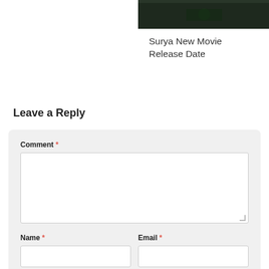[Figure (photo): Partial view of a dark movie promotional image at the top right of the page]
Surya New Movie Release Date
Leave a Reply
Comment * [textarea] Name * [input] Email * [input] Website [input]